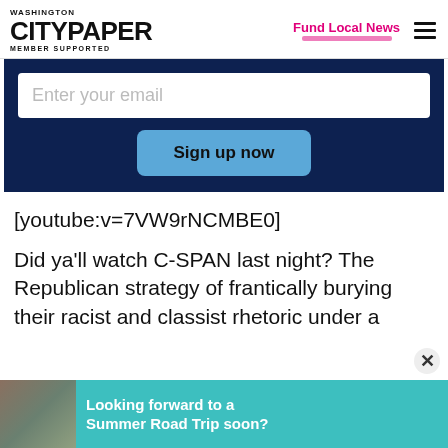WASHINGTON CITYPAPER MEMBER SUPPORTED | Fund Local News
[Figure (screenshot): Email signup form with dark navy background, white email input field with placeholder 'Enter your email', and a blue 'Sign up now' button]
[youtube:v=7VW9rNCMBE0]
Did ya'll watch C-SPAN last night? The Republican strategy of frantically burying their racist and classist rhetoric under a
[Figure (infographic): Advertisement banner: 'Looking forward to a Summer Road Trip soon?' on teal background with photo of family]